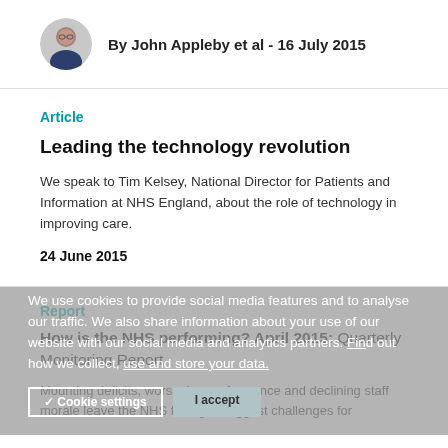By John Appleby et al - 16 July 2015
Article
Leading the technology revolution
We speak to Tim Kelsey, National Director for Patients and Information at NHS England, about the role of technology in improving care.
24 June 2015
Report
How is the NHS performing? April 2015: Quarterly Monitoring Report
Mounting deficits, worsening performance and declining staff morale leave the NHS facing its biggest challenges for
We use cookies to provide social media features and to analyse our traffic. We also share information about your use of our website with our social media and analytics partners. Find out how we collect, use and store your data.